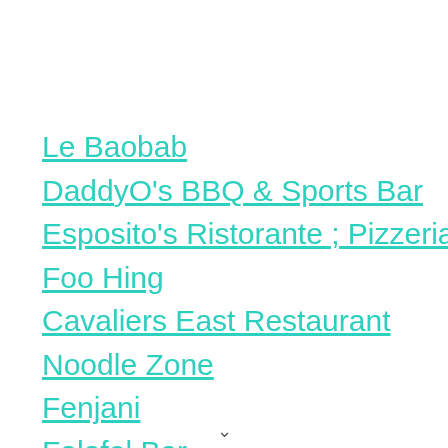Le Baobab
DaddyO's BBQ & Sports Bar
Esposito's Ristorante ; Pizzeria
Foo Hing
Cavaliers East Restaurant
Noodle Zone
Fenjani
Falafel Bar